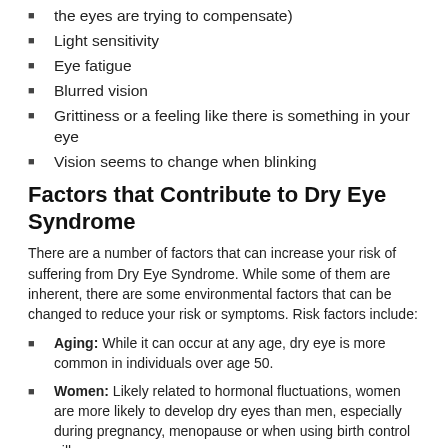the eyes are trying to compensate)
Light sensitivity
Eye fatigue
Blurred vision
Grittiness or a feeling like there is something in your eye
Vision seems to change when blinking
Factors that Contribute to Dry Eye Syndrome
There are a number of factors that can increase your risk of suffering from Dry Eye Syndrome. While some of them are inherent, there are some environmental factors that can be changed to reduce your risk or symptoms. Risk factors include:
Aging: While it can occur at any age, dry eye is more common in individuals over age 50.
Women: Likely related to hormonal fluctuations, women are more likely to develop dry eyes than men, especially during pregnancy, menopause or when using birth control pills.